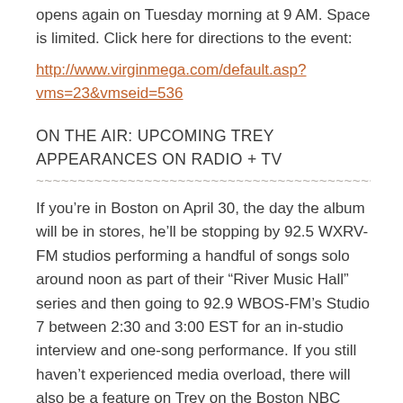opens again on Tuesday morning at 9 AM. Space is limited. Click here for directions to the event:
http://www.virginmega.com/default.asp?vms=23&vmseid=536
ON THE AIR: UPCOMING TREY APPEARANCES ON RADIO + TV
~~~~~~~~~~~~~~~~~~~~~~~~~~~~~~~~~~~~~~~~~~~~~~~~
If you’re in Boston on April 30, the day the album will be in stores, he’ll be stopping by 92.5 WXRV-FM studios performing a handful of songs solo around noon as part of their “River Music Hall” series and then going to 92.9 WBOS-FM’s Studio 7 between 2:30 and 3:00 EST for an in-studio interview and one-song performance. If you still haven’t experienced media overload, there will also be a feature on Trey on the Boston NBC affiliate (Channel 7)